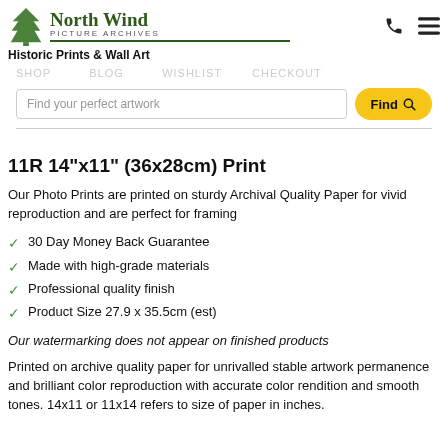North Wind Picture Archives — Historic Prints & Wall Art
11R 14"x11" (36x28cm) Print
Our Photo Prints are printed on sturdy Archival Quality Paper for vivid reproduction and are perfect for framing
30 Day Money Back Guarantee
Made with high-grade materials
Professional quality finish
Product Size 27.9 x 35.5cm (est)
Our watermarking does not appear on finished products
Printed on archive quality paper for unrivalled stable artwork permanence and brilliant color reproduction with accurate color rendition and smooth tones. 14x11 or 11x14 refers to size of paper in inches.